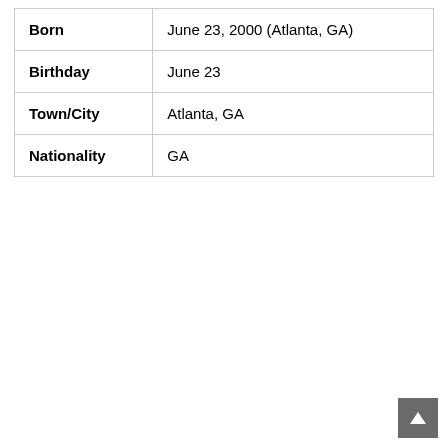| Born | June 23, 2000 (Atlanta, GA) |
| Birthday | June 23 |
| Town/City | Atlanta, GA |
| Nationality | GA |